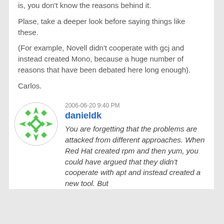is, you don't know the reasons behind it.
Plase, take a deeper look before saying things like these.
(For example, Novell didn't cooperate with gcj and instead created Mono, because a huge number of reasons that have been debated here long enough).
Carlos.
2006-06-20 9:40 PM
danieldk
You are forgetting that the problems are attacked from different approaches. When Red Hat created rpm and then yum, you could have argued that they didn't cooperate with apt and instead created a new tool. But